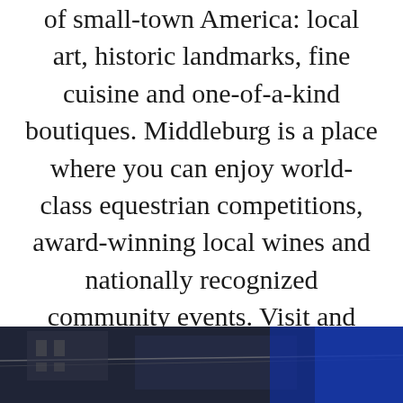of small-town America: local art, historic landmarks, fine cuisine and one-of-a-kind boutiques. Middleburg is a place where you can enjoy world-class equestrian competitions, award-winning local wines and nationally recognized community events. Visit and discover the spirit of Middleburg.
[Figure (photo): Dark nighttime photo of a building structure with blue lighting visible at bottom of page]